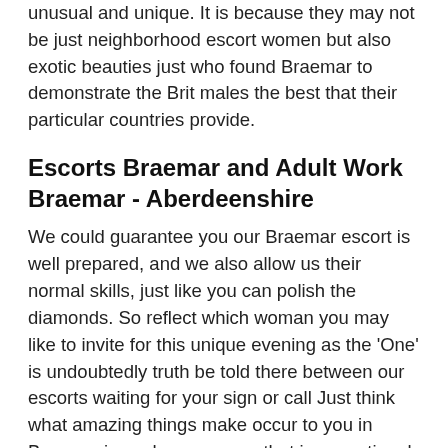unusual and unique. It is because they may not be just neighborhood escort women but also exotic beauties just who found Braemar to demonstrate the Brit males the best that their particular countries provide.
Escorts Braemar and Adult Work Braemar - Aberdeenshire
We could guarantee you our Braemar escort is well prepared, and we also allow us their normal skills, just like you can polish the diamonds. So reflect which woman you may like to invite for this unique evening as the 'One' is undoubtedly truth be told there between our escorts waiting for your sign or call Just think what amazing things make occur to you in Braemar in such a company that is exceptional. When you would be in your girl's organization, most of the concerns will fade, and all the doorways will be